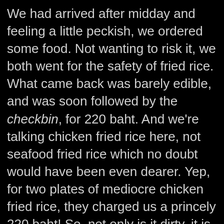We had arrived after midday and feeling a little peckish, we ordered some food. Not wanting to risk it, we both went for the safety of fried rice. What came back was barely edible, and was soon followed by the checkbin, for 220 baht. And we're talking chicken fried rice here, not seafood fried rice which no doubt would have been even dearer. Yep, for two plates of mediocre chicken fried rice, they charged us a princely 220 baht! So, not only is it dirty, it is expensive!
While the tone of all of this may sound like we had a terrible time, the truth is that we didn't. Yeah, I actually enjoyed myself but I couldn't help but feel that so many of the Thais look at us as people to be